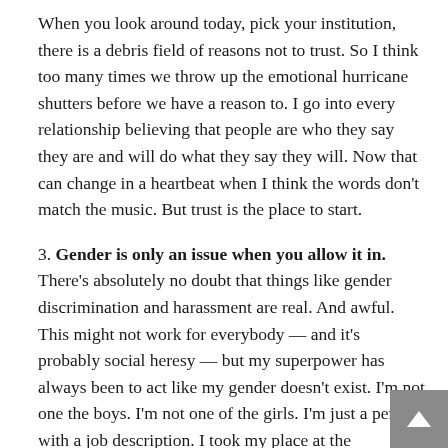When you look around today, pick your institution, there is a debris field of reasons not to trust. So I think too many times we throw up the emotional hurricane shutters before we have a reason to. I go into every relationship believing that people are who they say they are and will do what they say they will. Now that can change in a heartbeat when I think the words don't match the music. But trust is the place to start.
3. Gender is only an issue when you allow it in. There's absolutely no doubt that things like gender discrimination and harassment are real. And awful. This might not work for everybody — and it's probably social heresy — but my superpower has always been to act like my gender doesn't exist. I'm not one the boys. I'm not one of the girls. I'm just a person with a job description. I took my place at the conference table. I asked questions. I asked for the tough assignments. I asked for more money. But all of that had to be predicated on one thing. I always made sure that I was really